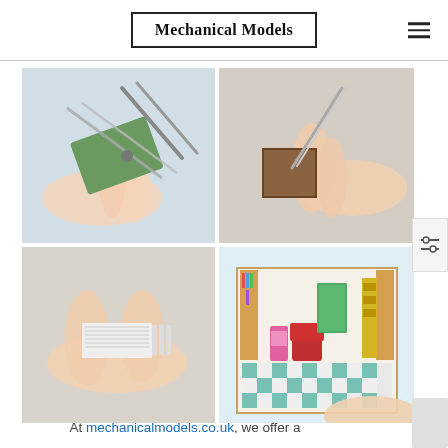Mechanical Models
[Figure (photo): Four-panel photo grid showing miniature model crafting process: top-left shows scissors cutting green material, top-right shows tweezers working on small wooden frame, bottom-left shows hands folding tiny paper book pages, bottom-right shows completed colorful miniature room scene with bookshop interior]
At mechanicalmodels.co.uk, we offer a